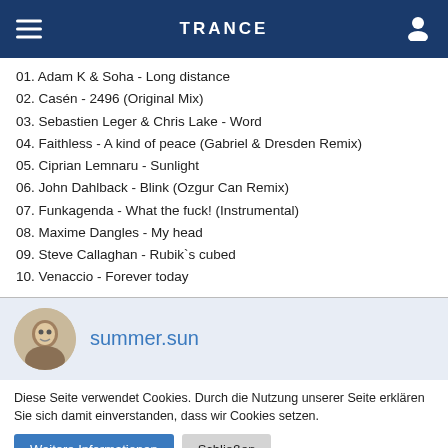TRANCE
01. Adam K & Soha - Long distance
02. Casén - 2496 (Original Mix)
03. Sebastien Leger & Chris Lake - Word
04. Faithless - A kind of peace (Gabriel & Dresden Remix)
05. Ciprian Lemnaru - Sunlight
06. John Dahlback - Blink (Ozgur Can Remix)
07. Funkagenda - What the fuck! (Instrumental)
08. Maxime Dangles - My head
09. Steve Callaghan - Rubik`s cubed
10. Venaccio - Forever today
[Figure (photo): Profile avatar photo of summer.sun user]
summer.sun
Diese Seite verwendet Cookies. Durch die Nutzung unserer Seite erklären Sie sich damit einverstanden, dass wir Cookies setzen.
Weitere Informationen | Schließen